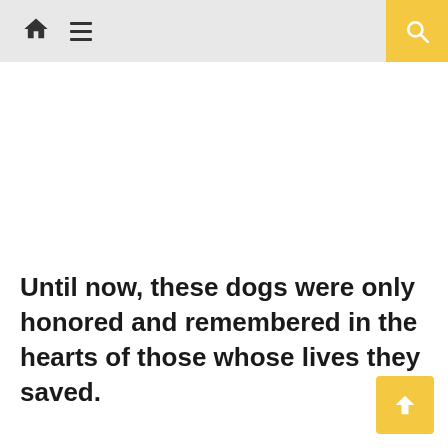Navigation bar with home icon, menu icon, and search button
Until now, these dogs were only honored and remembered in the hearts of those whose lives they saved.